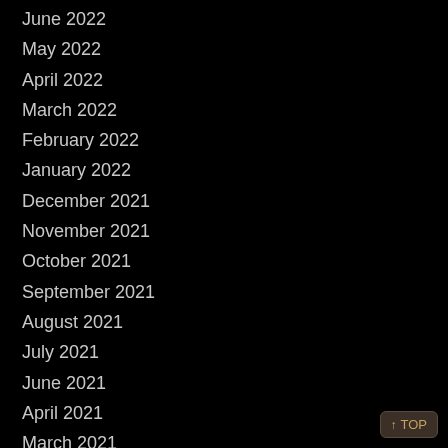June 2022
May 2022
April 2022
March 2022
February 2022
January 2022
December 2021
November 2021
October 2021
September 2021
August 2021
July 2021
June 2021
April 2021
March 2021
February 2021
January 2021
December 2020